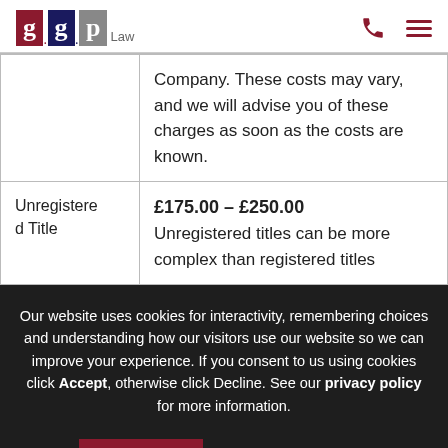[Figure (logo): GGP Law logo with red and grey letter blocks and 'Law' text beneath]
|  | Company. These costs may vary, and we will advise you of these charges as soon as the costs are known. |
| Unregistered Title | £175.00 – £250.00 Unregistered titles can be more complex than registered titles |
Our website uses cookies for interactivity, remembering choices and understanding how our visitors use our website so we can improve your experience. If you consent to us using cookies click Accept, otherwise click Decline. See our privacy policy for more information.
OK  DECLINE
COOKIE SETTINGS